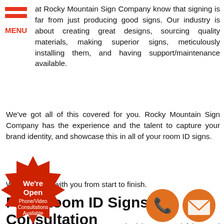[Figure (logo): Red hamburger menu icon with three horizontal red bars and 'MENU' text in red below]
at Rocky Mountain Sign Company know that signing is far from just producing good signs. Our industry is about creating great designs, sourcing quality materials, making superior signs, meticulously installing them, and having support/maintenance available.
We've got all of this covered for you. Rocky Mountain Sign Company has the experience and the talent to capture your brand identity, and showcase this in all of your room ID signs.
We are in this with you from start to finish.
Free Room ID Signs Consultation
[Figure (illustration): Red starburst badge with 'We're Open Phone/Video Consultations Available' text in white]
customers and visitors a satisfying and business experience by having room signage that's both attractive and informative. tain Sign Company can help th
[Figure (illustration): Orange phone icon circle]
[Figure (illustration): Orange mail/envelope icon circle]